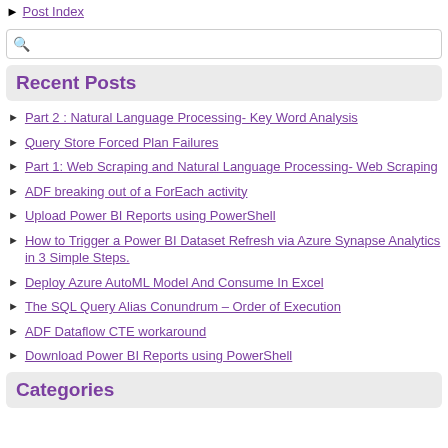Post Index
Recent Posts
Part 2 : Natural Language Processing- Key Word Analysis
Query Store Forced Plan Failures
Part 1: Web Scraping and Natural Language Processing- Web Scraping
ADF breaking out of a ForEach activity
Upload Power BI Reports using PowerShell
How to Trigger a Power BI Dataset Refresh via Azure Synapse Analytics in 3 Simple Steps.
Deploy Azure AutoML Model And Consume In Excel
The SQL Query Alias Conundrum – Order of Execution
ADF Dataflow CTE workaround
Download Power BI Reports using PowerShell
Categories